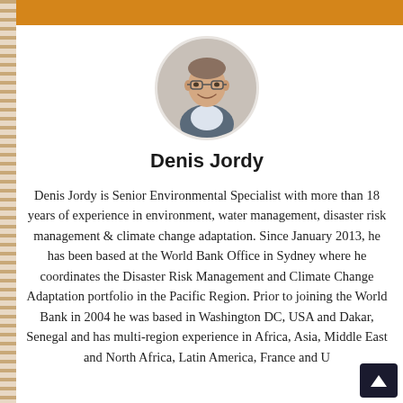[Figure (photo): Circular profile photo of Denis Jordy, a man wearing glasses and a suit jacket, smiling]
Denis Jordy
Denis Jordy is Senior Environmental Specialist with more than 18 years of experience in environment, water management, disaster risk management & climate change adaptation. Since January 2013, he has been based at the World Bank Office in Sydney where he coordinates the Disaster Risk Management and Climate Change Adaptation portfolio in the Pacific Region. Prior to joining the World Bank in 2004 he was based in Washington DC, USA and Dakar, Senegal and has multi-region experience in Africa, Asia, Middle East and North Africa, Latin America, France and U